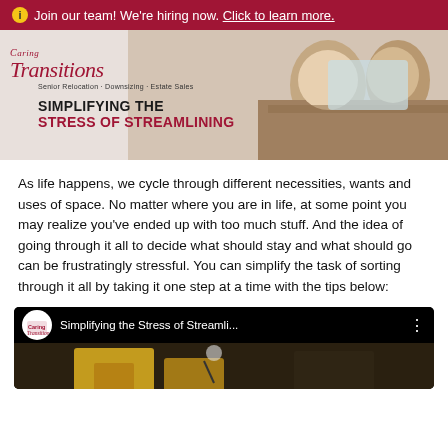ℹ Join our team! We're hiring now. Click to learn more.
[Figure (illustration): Caring Transitions banner with script logo, tagline 'Senior Relocation · Downsizing · Estate Sales', headline 'SIMPLIFYING THE STRESS OF STREAMLINING', and photo of two women smiling at laptop]
As life happens, we cycle through different necessities, wants and uses of space. No matter where you are in life, at some point you may realize you've ended up with too much stuff. And the idea of going through it all to decide what should stay and what should go can be frustratingly stressful. You can simplify the task of sorting through it all by taking it one step at a time with the tips below:
[Figure (screenshot): YouTube video thumbnail for 'Simplifying the Stress of Streamli...' with Caring Transitions logo circle and overhead view of yellow furniture]